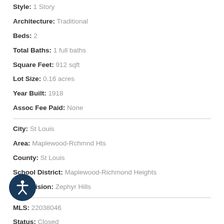Style: 1 Story
Architecture: Traditional
Beds: 2
Total Baths: 1 full baths
Square Feet: 912 sqft
Lot Size: 0.16 acres
Year Built: 1918
Assoc Fee Paid: None
City: St Louis
Area: Maplewood-Rchmnd Hts
County: St Louis
School District: Maplewood-Richmond Heights
Subdivision: Zephyr Hills
MLS: 22038046
Status: Closed
DOM: 7 days
ic Maplewood brick 2 bedroom within walking distance from all the action. Spacious back yard with privacy fencing